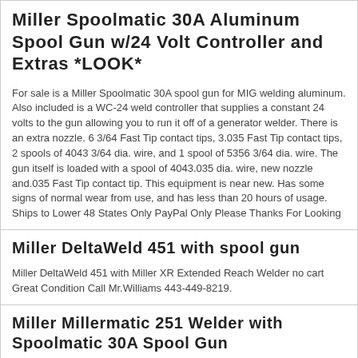Miller Spoolmatic 30A Aluminum Spool Gun w/24 Volt Controller and Extras *LOOK*
For sale is a Miller Spoolmatic 30A spool gun for MIG welding aluminum. Also included is a WC-24 weld controller that supplies a constant 24 volts to the gun allowing you to run it off of a generator welder. There is an extra nozzle. 6 3/64 Fast Tip contact tips, 3.035 Fast Tip contact tips, 2 spools of 4043 3/64 dia. wire, and 1 spool of 5356 3/64 dia. wire. The gun itself is loaded with a spool of 4043.035 dia. wire, new nozzle and.035 Fast Tip contact tip. This equipment is near new. Has some signs of normal wear from use, and has less than 20 hours of usage. Ships to Lower 48 States Only PayPal Only Please Thanks For Looking
Miller DeltaWeld 451 with spool gun
Miller DeltaWeld 451 with Miller XR Extended Reach Welder no cart Great Condition Call Mr.Williams 443-449-8219.
Miller Millermatic 251 Welder with Spoolmatic 30A Spool Gun
419-445-1111 SKU: DIS2259 Miller Millermatic 251 Welder with Spoolmatic 30A Spool Gun. In Stock: 1 Brand: Miller Condition: Used Model: 251 Country of Manufacture: USA Listed By: Connie Miller Millermatic 251 Welder with Spoolmatic 30A Spool Gun Miller millermatic 251 Cat# 903869 Volts 230/460/575 Ampers 42/24/17 Kw: 7.5 Phase 1